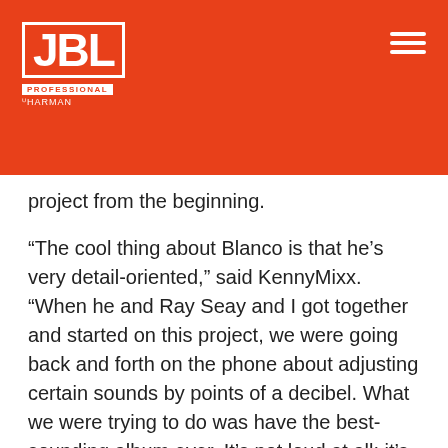[Figure (logo): JBL Professional by Harman logo in white on orange/red background, with hamburger menu icon top right]
project from the beginning.
“The cool thing about Blanco is that he’s very detail-oriented,” said KennyMixx. “When he and Ray Seay and I got together and started on this project, we were going back and forth on the phone about adjusting certain sounds by points of a decibel. What we were trying to do was have the best-sounding album ever. It’s not loud at all; it’s just really mastered for sound quality and not loudness. So, in other words, that’s a win for all of us quality control freaks.”
To achieve the desired level of polish in the mastering studio, KennyMixx has to be able to hear every tiny detail of the music. To do that, he trusts JBL M2 master reference